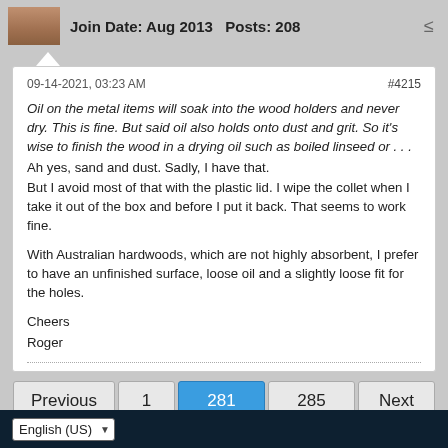Join Date: Aug 2013   Posts: 208
09-14-2021, 03:23 AM
#4215

Oil on the metal items will soak into the wood holders and never dry. This is fine. But said oil also holds onto dust and grit. So it's wise to finish the wood in a drying oil such as boiled linseed or . . .
Ah yes, sand and dust. Sadly, I have that.
But I avoid most of that with the plastic lid. I wipe the collet when I take it out of the box and before I put it back. That seems to work fine.

With Australian hardwoods, which are not highly absorbent, I prefer to have an unfinished surface, loose oil and a slightly loose fit for the holes.

Cheers
Roger
Previous  1  281  285  Next
English (US)